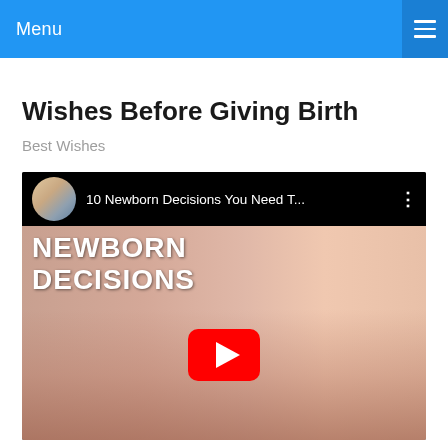Menu
Wishes Before Giving Birth
Best Wishes
[Figure (screenshot): YouTube video thumbnail showing '10 Newborn Decisions You Need T...' with text overlay reading 'NEWBORN DECISIONS' and a red YouTube play button in the center, with a blurred image of baby hands/feet in the background.]